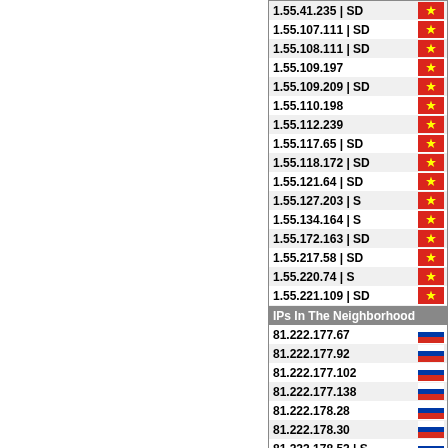| IP | Flag |
| --- | --- |
| 1.55.41.235 | SD | VN |
| 1.55.107.111 | SD | VN |
| 1.55.108.111 | SD | VN |
| 1.55.109.197 | VN |
| 1.55.109.209 | SD | VN |
| 1.55.110.198 | VN |
| 1.55.112.239 | VN |
| 1.55.117.65 | SD | VN |
| 1.55.118.172 | SD | VN |
| 1.55.121.64 | SD | VN |
| 1.55.127.203 | S | VN |
| 1.55.134.164 | S | VN |
| 1.55.172.163 | SD | VN |
| 1.55.217.58 | SD | VN |
| 1.55.220.74 | S | VN |
| 1.55.221.109 | SD | VN |
| 1.57.121.247 | SD | CN |
| 1.152.76.98 | SD | AU |
| IPs In The Neighborhood | Flag |
| --- | --- |
| 81.222.177.67 | RU |
| 81.222.177.92 | RU |
| 81.222.177.102 | RU |
| 81.222.177.138 | RU |
| 81.222.178.28 | RU |
| 81.222.178.30 | RU |
| 81.222.178.52 | S | RU |